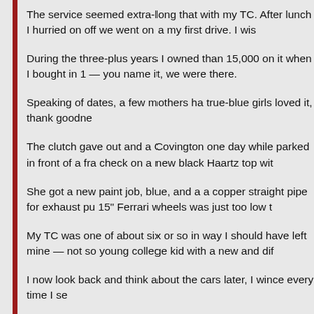The service seemed extra-long that with my TC. After lunch I hurried on off we went on a my first drive. I wis
During the three-plus years I owned than 15,000 on it when I bought in 1 — you name it, we were there.
Speaking of dates, a few mothers ha true-blue girls loved it, thank goodne
The clutch gave out and a Covington one day while parked in front of a fra check on a new black Haartz top wit
She got a new paint job, blue, and a a copper straight pipe for exhaust pu 15" Ferrari wheels was just too low t
My TC was one of about six or so in way I should have left mine — not so young college kid with a new and dif
I now look back and think about the cars later, I wince every time I se